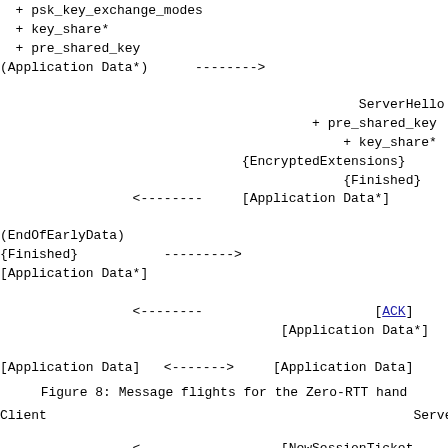+ psk_key_exchange_modes
  + key_share*
  + pre_shared_key
(Application Data*)      -------->

                                              ServerHello
                                        + pre_shared_key
                                            + key_share*
                               {EncryptedExtensions}
                                            {Finished}
                 <--------     [Application Data*]
(EndOfEarlyData)
{Finished}           --------->
[Application Data*]

                 <--------                      [ACK]
                                    [Application Data*]

[Application Data]   <------->     [Application Data]
Figure 8: Message flights for the Zero-RTT hand
Client                                               Server
<--------          [NewSessionTicket